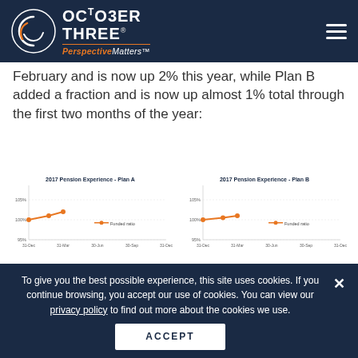October Three Perspective Matters
February and is now up 2% this year, while Plan B added a fraction and is now up almost 1% total through the first two months of the year:
[Figure (line-chart): 2017 Pension Experience - Plan A]
[Figure (line-chart): 2017 Pension Experience - Plan B]
To give you the best possible experience, this site uses cookies. If you continue browsing, you accept our use of cookies. You can view our privacy policy to find out more about the cookies we use.